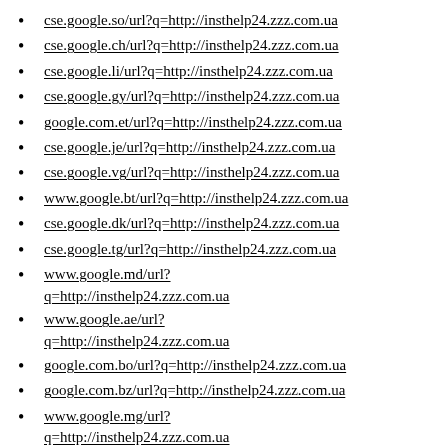cse.google.so/url?q=http://insthelp24.zzz.com.ua
cse.google.ch/url?q=http://insthelp24.zzz.com.ua
cse.google.li/url?q=http://insthelp24.zzz.com.ua
cse.google.gy/url?q=http://insthelp24.zzz.com.ua
google.com.et/url?q=http://insthelp24.zzz.com.ua
cse.google.je/url?q=http://insthelp24.zzz.com.ua
cse.google.vg/url?q=http://insthelp24.zzz.com.ua
www.google.bt/url?q=http://insthelp24.zzz.com.ua
cse.google.dk/url?q=http://insthelp24.zzz.com.ua
cse.google.tg/url?q=http://insthelp24.zzz.com.ua
www.google.md/url?q=http://insthelp24.zzz.com.ua
www.google.ae/url?q=http://insthelp24.zzz.com.ua
google.com.bo/url?q=http://insthelp24.zzz.com.ua
google.com.bz/url?q=http://insthelp24.zzz.com.ua
www.google.mg/url?q=http://insthelp24.zzz.com.ua
www.google.is/url?q=http://insthelp24.zzz.com.ua